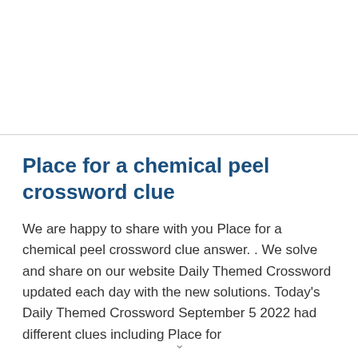Place for a chemical peel crossword clue
We are happy to share with you Place for a chemical peel crossword clue answer. . We solve and share on our website Daily Themed Crossword updated each day with the new solutions. Today's Daily Themed Crossword September 5 2022 had different clues including Place for